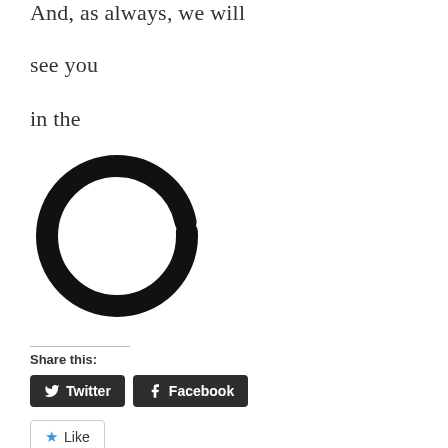And, as always, we will
see you
in the
[Figure (illustration): A large hand-drawn style black circle (ring/enso) on white background]
Share this:
Twitter  Facebook
Like